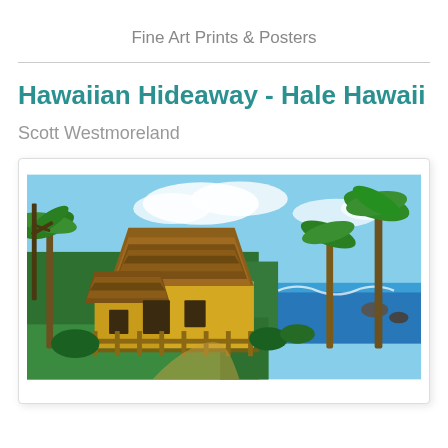Fine Art Prints & Posters
Hawaiian Hideaway - Hale Hawaii
Scott Westmoreland
[Figure (photo): Painting of a Hawaiian thatched-roof hut (hale) surrounded by tropical palm trees and lush greenery, with the ocean visible in the background under a partly cloudy blue sky. The hut has a large straw/thatched peaked roof and a yellow structure. A wooden fence is visible in the foreground.]